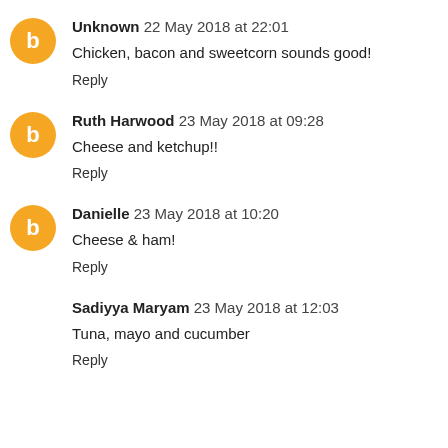Unknown 22 May 2018 at 22:01
Chicken, bacon and sweetcorn sounds good!
Reply
Ruth Harwood 23 May 2018 at 09:28
Cheese and ketchup!!
Reply
Danielle 23 May 2018 at 10:20
Cheese & ham!
Reply
Sadiyya Maryam 23 May 2018 at 12:03
Tuna, mayo and cucumber
Reply